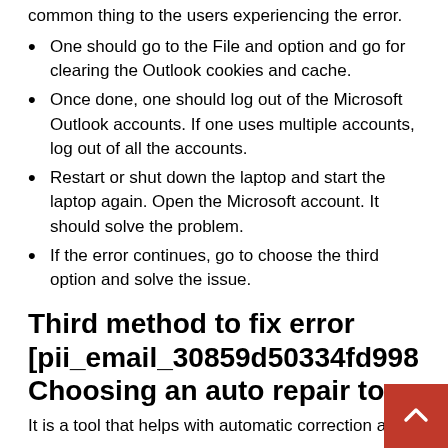common thing to the users experiencing the error.
One should go to the File and option and go for clearing the Outlook cookies and cache.
Once done, one should log out of the Microsoft Outlook accounts. If one uses multiple accounts, log out of all the accounts.
Restart or shut down the laptop and start the laptop again. Open the Microsoft account. It should solve the problem.
If the error continues, go to choose the third option and solve the issue.
Third method to fix error [pii_email_30859d50334fd9981ee Choosing an auto repair too
It is a tool that helps with automatic correction and